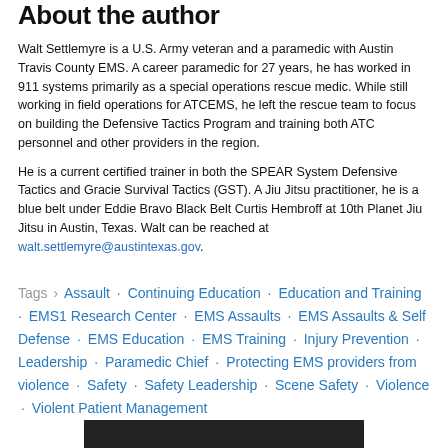About the author
Walt Settlemyre is a U.S. Army veteran and a paramedic with Austin Travis County EMS. A career paramedic for 27 years, he has worked in 911 systems primarily as a special operations rescue medic. While still working in field operations for ATCEMS, he left the rescue team to focus on building the Defensive Tactics Program and training both ATC personnel and other providers in the region.
He is a current certified trainer in both the SPEAR System Defensive Tactics and Gracie Survival Tactics (GST). A Jiu Jitsu practitioner, he is a blue belt under Eddie Bravo Black Belt Curtis Hembroff at 10th Planet Jiu Jitsu in Austin, Texas. Walt can be reached at walt.settlemyre@austintexas.gov.
Tags > Assault · Continuing Education · Education and Training · EMS1 Research Center · EMS Assaults · EMS Assaults & Self Defense · EMS Education · EMS Training · Injury Prevention · Leadership · Paramedic Chief · Protecting EMS providers from violence · Safety · Safety Leadership · Scene Safety · Violence · Violent Patient Management